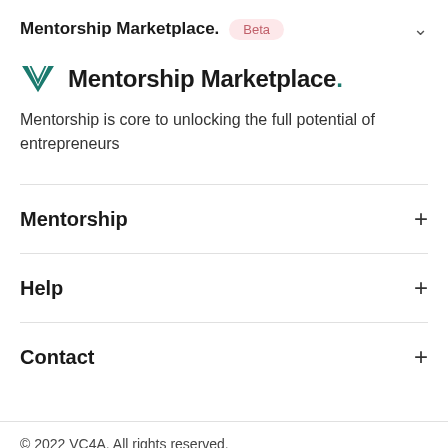Mentorship Marketplace . Beta
Mentorship Marketplace .
Mentorship is core to unlocking the full potential of entrepreneurs
Mentorship
Help
Contact
© 2022 VC4A. All rights reserved.